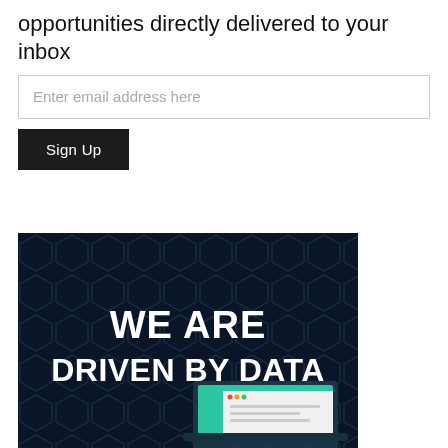opportunities directly delivered to your inbox
Enter email address here
Sign Up
[Figure (infographic): Dark navy blue banner with hexagonal pattern background, bold white text reading 'WE ARE DRIVEN BY DATA', and a laptop/screen graphic in the lower right corner.]